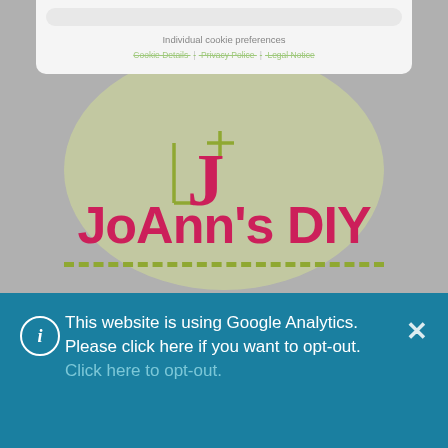Individual cookie preferences
Cookie Details | Privacy Police | Legal Notice
[Figure (logo): JoAnn's DIY logo with a large pink J letter, olive-green cross and bracket symbol, text 'JoAnn's DIY' in bold pink, olive dashed underline, all on a yellow-green oval background]
This website is using Google Analytics. Please click here if you want to opt-out. Click here to opt-out.